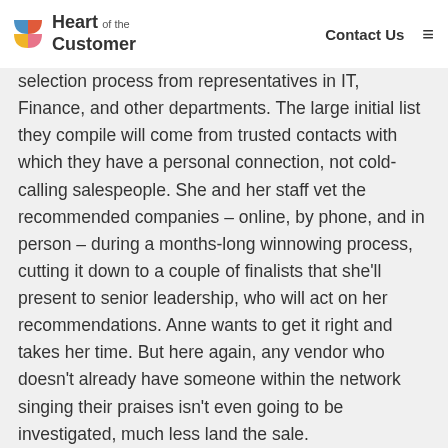Heart of the Customer | Contact Us
selection process from representatives in IT, Finance, and other departments. The large initial list they compile will come from trusted contacts with which they have a personal connection, not cold-calling salespeople. She and her staff vet the recommended companies – online, by phone, and in person – during a months-long winnowing process, cutting it down to a couple of finalists that she'll present to senior leadership, who will act on her recommendations. Anne wants to get it right and takes her time. But here again, any vendor who doesn't already have someone within the network singing their praises isn't even going to be investigated, much less land the sale.